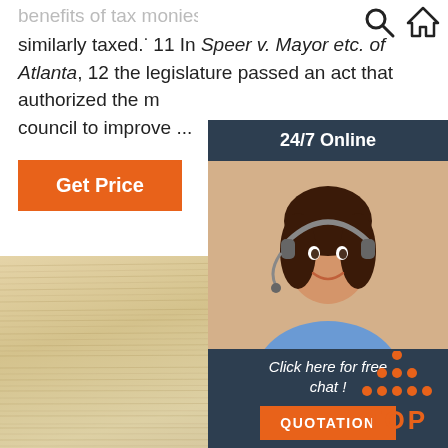24/7 Online
benefits of tax monies to the same extent as other citizens similarly taxed.² 11 In Speer v. Mayor etc. of Atlanta, 12 the legislature passed an act that authorized the m... council to improve ...
Get Price
[Figure (photo): Wood grain surface texture — light natural wood planks viewed at an angle]
[Figure (photo): Customer service agent — woman wearing headset smiling]
Click here for free chat !
QUOTATION
[Figure (other): TOP button with orange dotted triangle above text]